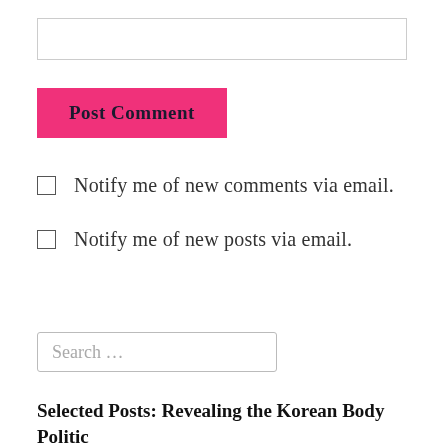[Figure (screenshot): Empty text input box with light grey border]
Post Comment
Notify me of new comments via email.
Notify me of new posts via email.
[Figure (screenshot): Search input box with placeholder text 'Search ...']
Selected Posts: Revealing the Korean Body Politic